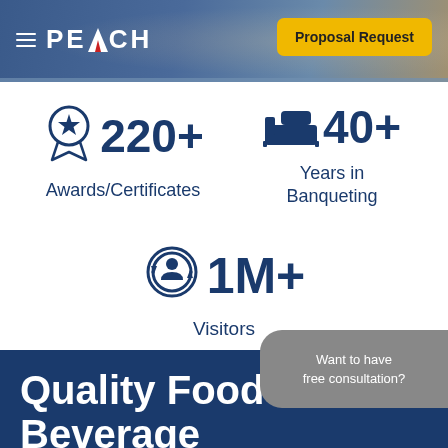[Figure (infographic): PEACH company header with logo, hamburger menu, and yellow Proposal Request button over a food background photo]
[Figure (infographic): Stats infographic: 220+ Awards/Certificates (award icon), 40+ Years in Banqueting (bed/hotel icon), 1M+ Visitors (person/circle icon)]
Want to have free consultation?
Quality Food &
Beverage